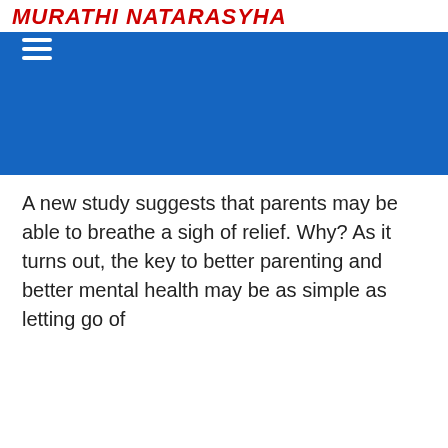MURATHI NATARASYHA
A new study suggests that parents may be able to breathe a sigh of relief. Why? As it turns out, the key to better parenting and better mental health may be as simple as letting go of